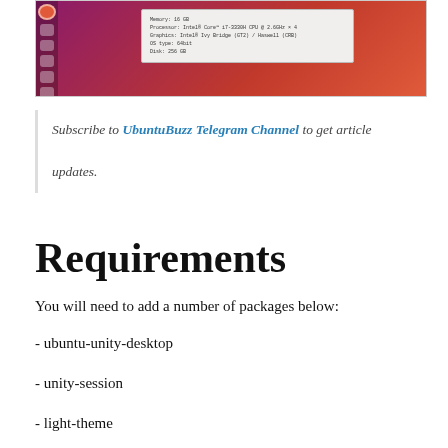[Figure (screenshot): Ubuntu Unity desktop screenshot showing system information dialog with memory, processor, graphics, OS type, and disk details, with a dark sidebar showing icons on the left.]
Subscribe to UbuntuBuzz Telegram Channel to get article updates.
Requirements
You will need to add a number of packages below:
- ubuntu-unity-desktop
- unity-session
- light-theme